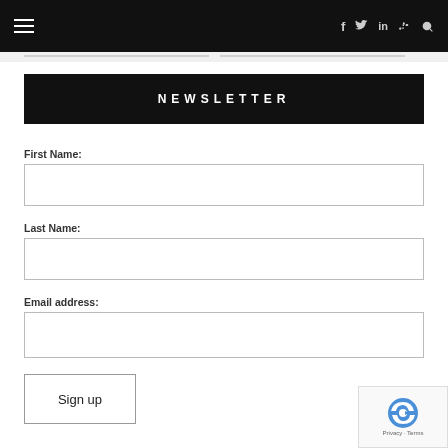Navigation bar with hamburger menu and social icons (f, twitter, in, rss, search)
NEWSLETTER
First Name:
Last Name:
Email address:
Sign up